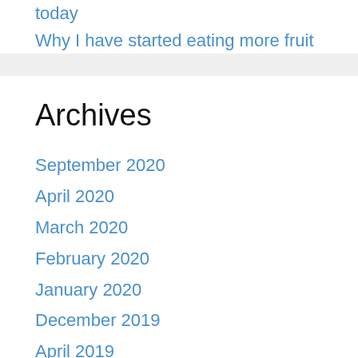today
Why I have started eating more fruit
Archives
September 2020
April 2020
March 2020
February 2020
January 2020
December 2019
April 2019
February 2019